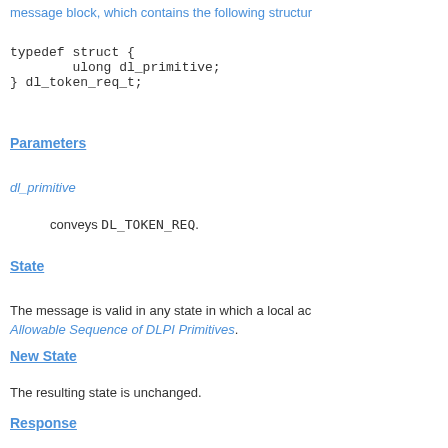message block, which contains the following structure:
typedef struct {
    ulong dl_primitive;
} dl_token_req_t;
Parameters
dl_primitive
conveys DL_TOKEN_REQ.
State
The message is valid in any state in which a local ac... Allowable Sequence of DLPI Primitives.
New State
The resulting state is unchanged.
Response
The DLS provider responds to the information reques...
4.2.7 Message DL_TOKEN_ACK (dl_token_ack_t)